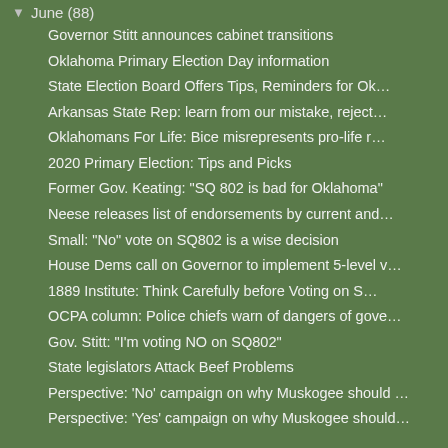June (88)
Governor Stitt announces cabinet transitions
Oklahoma Primary Election Day information
State Election Board Offers Tips, Reminders for Ok…
Arkansas State Rep: learn from our mistake, reject…
Oklahomans For Life: Bice misrepresents pro-life r…
2020 Primary Election: Tips and Picks
Former Gov. Keating: "SQ 802 is bad for Oklahoma"
Neese releases list of endorsements by current and…
Small: "No" vote on SQ802 is a wise decision
House Dems call on Governor to implement 5-level v…
1889 Institute: Think Carefully before Voting on S…
OCPA column: Police chiefs warn of dangers of gove…
Gov. Stitt: "I'm voting NO on SQ802"
State legislators Attack Beef Problems
Perspective: 'No' campaign on why Muskogee should …
Perspective: 'Yes' campaign on why Muskogee should…